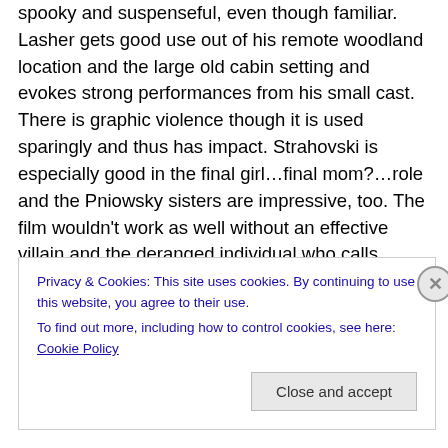spooky and suspenseful, even though familiar. Lasher gets good use out of his remote woodland location and the large old cabin setting and evokes strong performances from his small cast. There is graphic violence though it is used sparingly and thus has impact. Strahovski is especially good in the final girl…final mom?…role and the Pniowsky sisters are impressive, too. The film wouldn't work as well without an effective villain and the deranged individual who calls himself “John” (Ryan McDonald) is disturbing despite being derivative. He delivers his few lines of dialogue well and conveys a threatening presence
Privacy & Cookies: This site uses cookies. By continuing to use this website, you agree to their use.
To find out more, including how to control cookies, see here: Cookie Policy
Close and accept